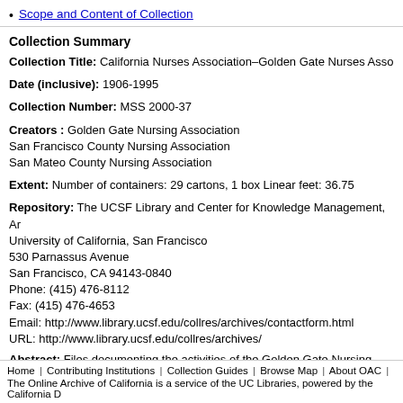Scope and Content of Collection
Collection Summary
Collection Title: California Nurses Association–Golden Gate Nurses Asso...
Date (inclusive): 1906-1995
Collection Number: MSS 2000-37
Creators : Golden Gate Nursing Association
San Francisco County Nursing Association
San Mateo County Nursing Association
Extent: Number of containers: 29 cartons, 1 box Linear feet: 36.75
Repository: The UCSF Library and Center for Knowledge Management, Ar...
University of California, San Francisco
530 Parnassus Avenue
San Francisco, CA 94143-0840
Phone: (415) 476-8112
Fax: (415) 476-4653
Email: http://www.library.ucsf.edu/collres/archives/contactform.html
URL: http://www.library.ucsf.edu/collres/archives/
Abstract: Files documenting the activities of the Golden Gate Nursing Asso...
Francisco County Nursing Association. The San Mateo County Nursing A...
Home | Contributing Institutions | Collection Guides | Browse Map | About OAC |
The Online Archive of California is a service of the UC Libraries, powered by the California D...